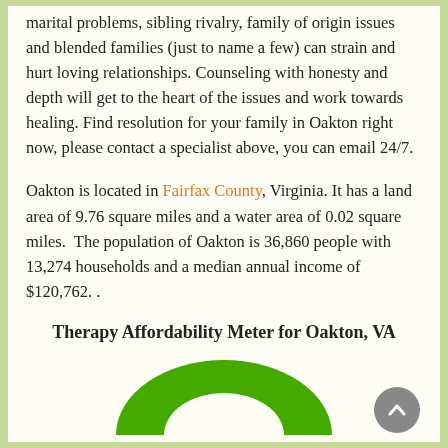marital problems, sibling rivalry, family of origin issues and blended families (just to name a few) can strain and hurt loving relationships. Counseling with honesty and depth will get to the heart of the issues and work towards healing. Find resolution for your family in Oakton right now, please contact a specialist above, you can email 24/7.
Oakton is located in Fairfax County, Virginia. It has a land area of 9.76 square miles and a water area of 0.02 square miles.  The population of Oakton is 36,860 people with 13,274 households and a median annual income of $120,762. .
Therapy Affordability Meter for Oakton, VA
[Figure (infographic): A semicircular gauge/meter showing therapy affordability, colored from orange/yellow on the left to green on the right, indicating affordability level for Oakton, VA.]